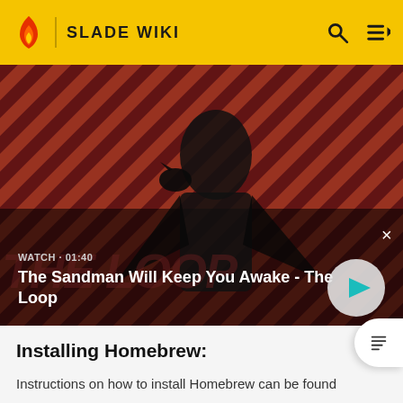SLADE WIKI
[Figure (screenshot): Video thumbnail showing a dark-clad figure with a crow on their shoulder against a red and black diagonal striped background. Title reads 'The Sandman Will Keep You Awake - The Loop'. Duration shown as 01:40 with a play button.]
Installing Homebrew:
Instructions on how to install Homebrew can be found